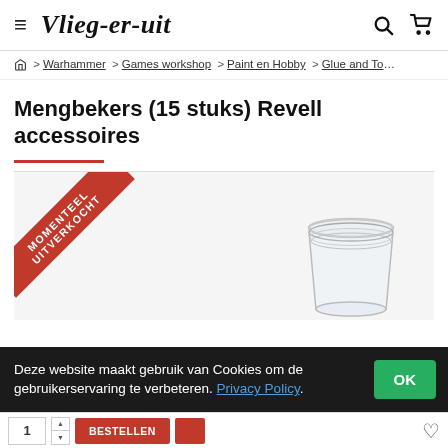Vlieg-er-uit
⌂ > Warhammer > Games workshop > Paint en Hobby > Glue and To...
Mengbekers (15 stuks) Revell accessoires
[Figure (photo): Product photo of clear plastic mixing cups (Mengbekers). A red diagonal ribbon banner reads 'MOMENTEEL UITVERKOCHT' (currently sold out) in the top-left corner.]
Deze website maakt gebruik van Cookies om de gebruikerservaring te verbeteren. Privacy Policy.
1  BESTELLEN